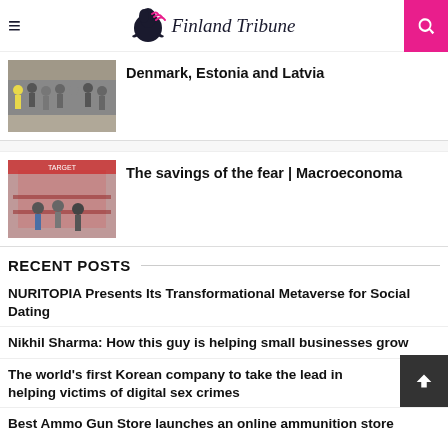Finland Tribune
Denmark, Estonia and Latvia
The savings of the fear | Macroeconoma
RECENT POSTS
NURITOPIA Presents Its Transformational Metaverse for Social Dating
Nikhil Sharma: How this guy is helping small businesses grow
The world's first Korean company to take the lead in helping victims of digital sex crimes
Best Ammo Gun Store launches an online ammunition store